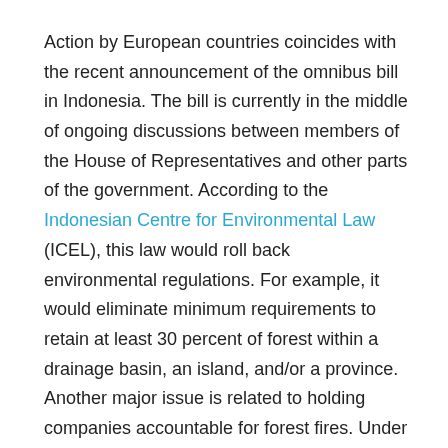Action by European countries coincides with the recent announcement of the omnibus bill in Indonesia. The bill is currently in the middle of ongoing discussions between members of the House of Representatives and other parts of the government. According to the Indonesian Centre for Environmental Law (ICEL), this law would roll back environmental regulations. For example, it would eliminate minimum requirements to retain at least 30 percent of forest within a drainage basin, an island, and/or a province. Another major issue is related to holding companies accountable for forest fires. Under the new bill, plantation permit holders would no longer be responsible for fires in their concessions. The mandate would only prevent and mitigate fires in the plantation's working area.
The discrepancy between European developments and the omnibus bill, plus continued pro-development rhetoric in other source countries like Brazil, makes the policies proposed in